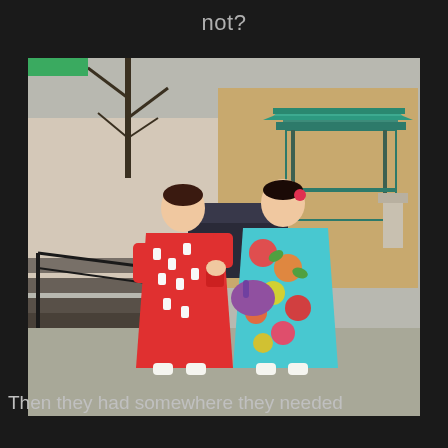not?
[Figure (photo): Two women wearing traditional Japanese kimonos standing outdoors in what appears to be a shrine or temple courtyard. The woman on the left wears a red and white patterned kimono and holds a red item, while the woman on the right wears a colorful floral kimono with a purple bag. In the background there is a traditional Japanese gate structure, bare winter trees, parked vehicles, and bleacher-style seating on the left.]
Then they had somewhere they needed